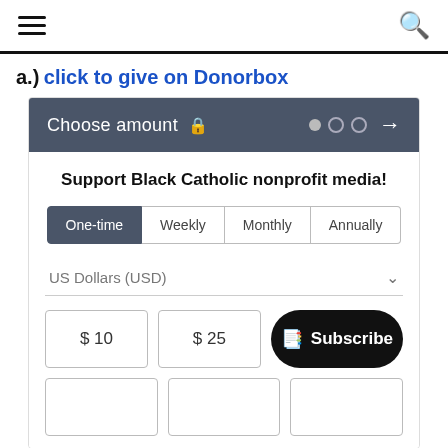≡  🔍
a.) click to give on Donorbox
[Figure (screenshot): Donorbox donation widget showing 'Choose amount' header with lock icon and step dots, body with 'Support Black Catholic nonprofit media!' text, One-time/Weekly/Monthly/Annually tabs, US Dollars (USD) currency selector, and amount buttons for $10, $25, and a Subscribe button, with partial second row of empty buttons.]